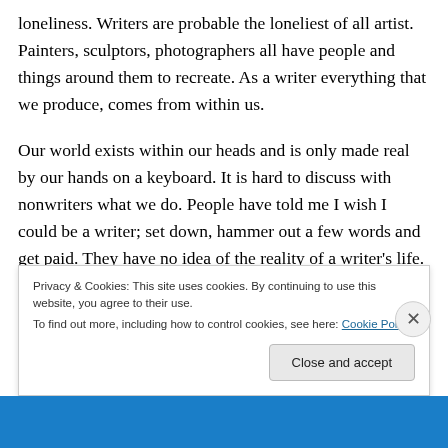loneliness. Writers are probable the loneliest of all artist. Painters, sculptors, photographers all have people and things around them to recreate. As a writer everything that we produce, comes from within us.
Our world exists within our heads and is only made real by our hands on a keyboard. It is hard to discuss with nonwriters what we do. People have told me I wish I could be a writer; set down, hammer out a few words and get paid. They have no idea of the reality of a writer’s life. They have never starred at a blank screen for an hour
Privacy & Cookies: This site uses cookies. By continuing to use this website, you agree to their use.
To find out more, including how to control cookies, see here: Cookie Policy